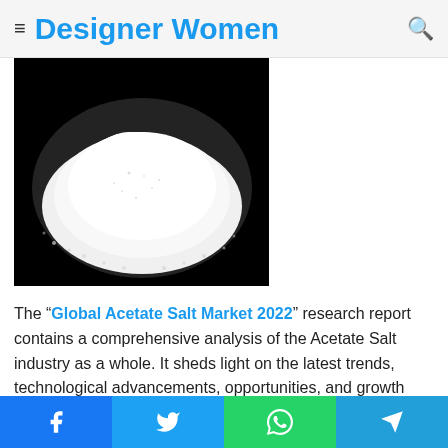Designer Women
[Figure (photo): A pile of white crystalline acetate salt on a black background]
The “Global Acetate Salt Market 2022” research report contains a comprehensive analysis of the Acetate Salt industry as a whole. It sheds light on the latest trends, technological advancements, opportunities, and growth drivers revolving around the global Acetate Salt market. The market research
Social share bar: Facebook, Twitter, WhatsApp, Telegram